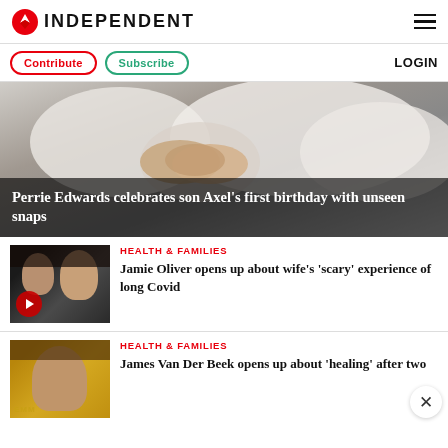INDEPENDENT
Contribute | Subscribe | LOGIN
[Figure (photo): Hero image showing people in white clothing, with dark overlay title: Perrie Edwards celebrates son Axel's first birthday with unseen snaps]
Perrie Edwards celebrates son Axel's first birthday with unseen snaps
[Figure (photo): Photo of Jamie Oliver and wife at an event, with a red play button overlay]
HEALTH & FAMILIES
Jamie Oliver opens up about wife's 'scary' experience of long Covid
[Figure (photo): Photo of James Van Der Beek at an Emmy awards event]
HEALTH & FAMILIES
James Van Der Beek opens up about 'healing' after two